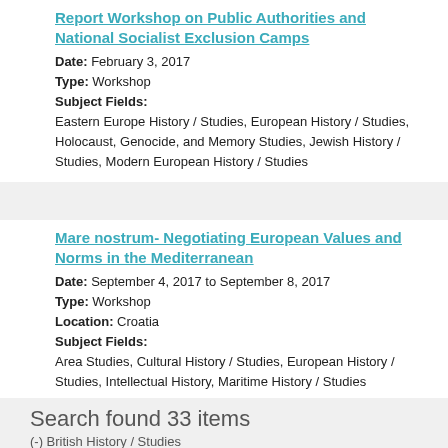Report Workshop on Public Authorities and National Socialist Exclusion Camps
Date: February 3, 2017
Type: Workshop
Subject Fields:
Eastern Europe History / Studies, European History / Studies, Holocaust, Genocide, and Memory Studies, Jewish History / Studies, Modern European History / Studies
Mare nostrum- Negotiating European Values and Norms in the Mediterranean
Date: September 4, 2017 to September 8, 2017
Type: Workshop
Location: Croatia
Subject Fields:
Area Studies, Cultural History / Studies, European History / Studies, Intellectual History, Maritime History / Studies
Search found 33 items
(-) British History / Studies